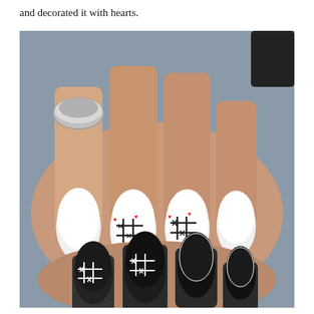and decorated it with hearts.
[Figure (photo): Close-up photo of manicured nails on two hands. Top hand shows white nails with tic-tac-toe (noughts and crosses) game designs decorated with red hearts and X marks on two middle nails, with a large silver ring on the index finger. Bottom hand shows black nails with white tic-tac-toe grid designs and X marks on two nails.]